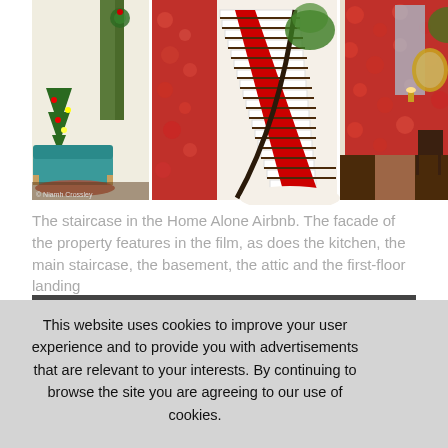[Figure (photo): Three-panel photo collage: left panel shows a Christmas-decorated living room with a teal sofa and Christmas tree; center panel shows a staircase with a red carpet runner and red floral wallpaper; right panel shows a hallway with red floral wallpaper, dark wood floors, and a golden mirror. Copyright mark reads '© Niamh Crossley'.]
The staircase in the Home Alone Airbnb. The facade of the property features in the film, as does the kitchen, the main staircase, the basement, the attic and the first-floor landing
[Figure (photo): Partial view of a second photo strip showing a dark interior scene, partially obscured by the cookie consent overlay.]
This website uses cookies to improve your user experience and to provide you with advertisements that are relevant to your interests. By continuing to browse the site you are agreeing to our use of cookies.